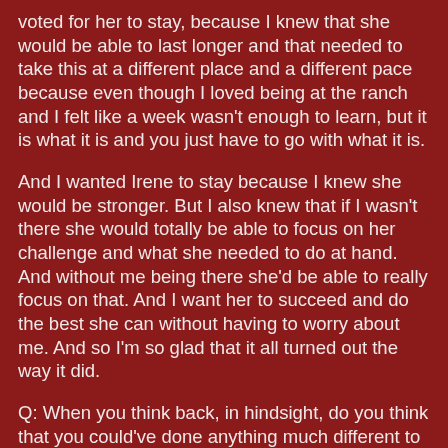voted for her to stay, because I knew that she would be able to last longer and that needed to take this at a different place and a different pace because even though I loved being at the ranch and I felt like a week wasn't enough to learn, but it is what it is and you just have to go with what it is.
And I wanted Irene to stay because I knew she would be stronger. But I also knew that if I wasn't there she would totally be able to focus on her challenge and what she needed to do at hand. And without me being there she'd be able to really focus on that. And I want her to succeed and do the best she can without having to worry about me. And so I'm so glad that it all turned out the way it did.
Q: When you think back, in hindsight, do you think that you could've done anything much different to secure your spot on the ranch?
ANA: I wish I would've been able to work through the pain more. I have really bad arthritis and I've had two knee surgeries, which has caused some problems with me even doing my job. And so I really struggled with that and I wish I